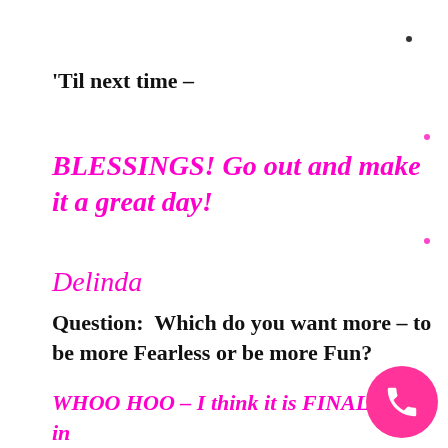'Til next time –
BLESSINGS! Go out and make it a great day!
Delinda
Question:  Which do you want more – to be more Fearless or be more Fun?
WHOO HOO – I think it is FINALLY in place – Thanks for being patient! (I had to